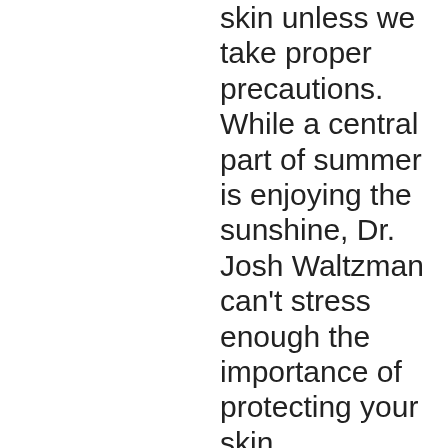skin unless we take proper precautions. While a central part of summer is enjoying the sunshine, Dr. Josh Waltzman can't stress enough the importance of protecting your skin